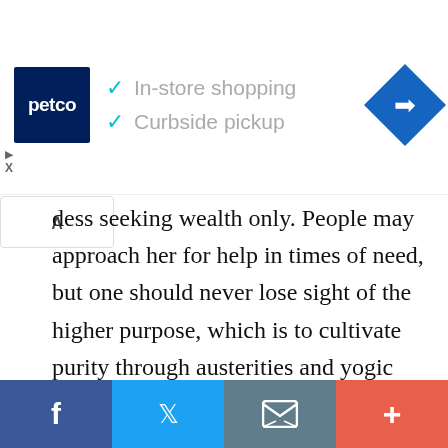[Figure (screenshot): Petco advertisement banner with logo, checkmarks for 'In-store shopping' and 'Curbside pickup', and a blue navigation diamond icon on the right]
dess seeking wealth only. People may approach her for help in times of need, but one should never lose sight of the higher purpose, which is to cultivate purity through austerities and yogic practices and achieve liberation. Goddess
[Figure (screenshot): Cookie consent banner overlay in black: 'This website uses cookies to ensure you get the best experience on our website.' with a yellow 'Got it!' button]
[Figure (screenshot): Social share bar at bottom with Facebook (blue), Twitter (light blue), email/envelope (grey), and plus/more (salmon/red) buttons]